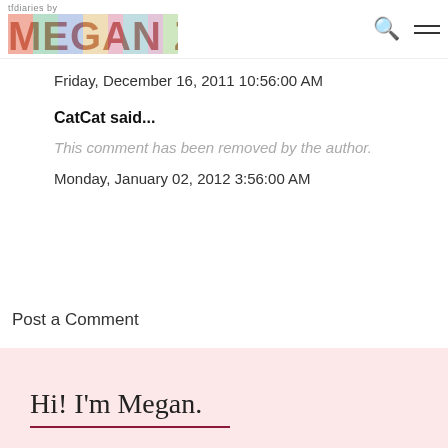tfdiaries by MEGAN ZIETZ
Friday, December 16, 2011 10:56:00 AM
CatCat said...
This comment has been removed by the author.
Monday, January 02, 2012 3:56:00 AM
Post a Comment
Hi! I'm Megan.